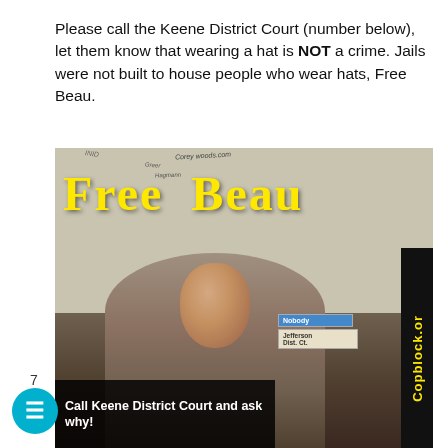Please call the Keene District Court (number below), let them know that wearing a hat is NOT a crime. Jails were not built to house people who wear hats, Free Beau.
[Figure (photo): Photo of a young man with short hair and a light beard, sitting in what appears to be a jail or bus. Large yellow bold text 'Free Beau' overlaid at top. A black vertical bar on the right side reads 'Copblock.or' in yellow. A dark box at the bottom left reads 'Call Keene District Court and ask why!'. Handwritten scribbles visible on ceiling in background.]
7